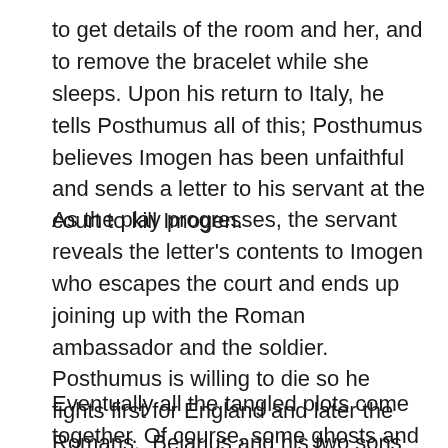to get details of the room and her, and to remove the bracelet while she sleeps. Upon his return to Italy, he tells Posthumus all of this; Posthumus believes Imogen has been unfaithful and sends a letter to his servant at the court to kill Imogen.
As the play progresses, the servant reveals the letter's contents to Imogen who escapes the court and ends up joining up with the Roman ambassador and the soldier. Posthumus is willing to die so he fights first for England and later the Romans.  Belarius and his two sons heroically fight for England.
Eventually all the tangled plots come together. Of course, some ghosts and even the Roman God Jupiter